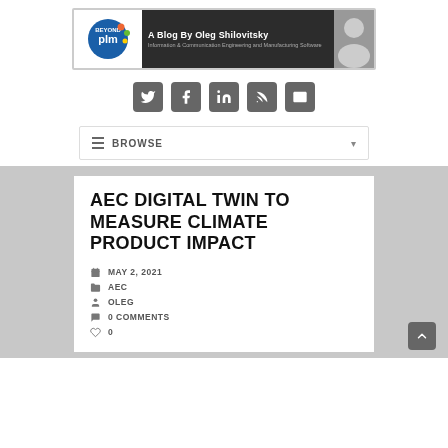[Figure (logo): Beyond PLM blog banner with logo, title 'A Blog By Oleg Shilovitsky', subtitle 'Information & Communication Engineering and Manufacturing Software', and author photo]
[Figure (infographic): Row of 5 social media icons: Twitter, Facebook, LinkedIn, RSS, Email — all in gray rounded square buttons]
≡  BROWSE ▾
AEC DIGITAL TWIN TO MEASURE CLIMATE PRODUCT IMPACT
MAY 2, 2021
AEC
OLEG
0 COMMENTS
0